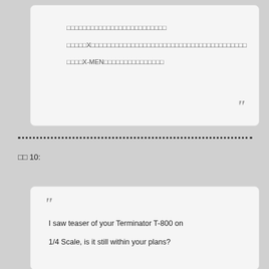□□□□□□□□□□□□□□□□□□□□□□□□□□
□□□□□□X□□□□□□□□□□□□□□□□□□□□□□□□□□□□□□□□□□□□□□□□
□□□□X-MEN□□□□□□□□□□□□□□□□□
□□ 10:
I saw teaser of your Terminator T-800 on 1/4 Scale, is it still within your plans?